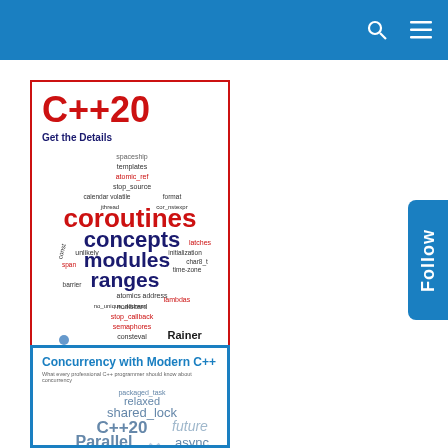C++20 Get the Details – ModernescCpp.com book covers page
[Figure (illustration): Book cover for C++20 Get the Details by Rainer Grimm, with red title, word cloud of C++20 features (coroutines, concepts, modules, ranges, etc.), telescope illustration, ModernescCpp.com]
[Figure (illustration): Book cover for Concurrency with Modern C++ by Rainer Grimm, blue border, word cloud including relaxed, shared_lock, C++20, future, Parallel, unique_lock, threads, atomics, async, C++14]